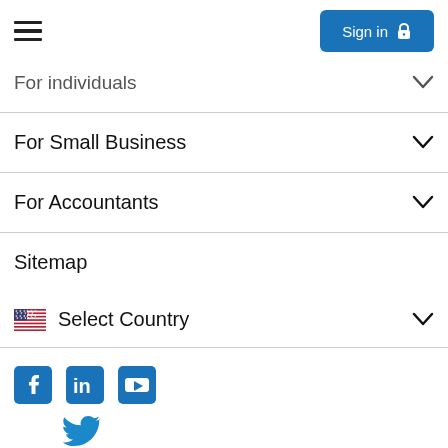[Figure (screenshot): Hamburger menu icon (three horizontal lines) on the left, and a blue 'Sign in' button with lock icon on the right in the top navigation bar]
For individuals (partially visible, with dropdown chevron)
For Small Business (with dropdown chevron)
For Accountants (with dropdown chevron)
Sitemap
Select Country (with US flag and dropdown chevron)
[Figure (infographic): Social media icons row: Facebook, LinkedIn, YouTube, and Twitter (bird icon)]
[Figure (logo): Intuit logo with 'powering prosperity' tagline in the footer bar]